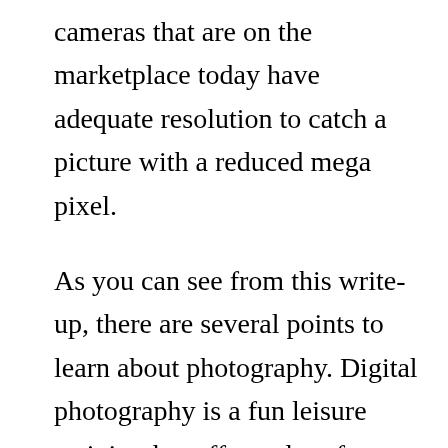cameras that are on the marketplace today have adequate resolution to catch a picture with a reduced mega pixel.
As you can see from this write-up, there are several points to learn about photography. Digital photography is a fun leisure activity that offers a lot of contentment. In addition to being a relaxing leisure activity, photography is additionally a way to express your imagination. Many individuals who have an interest in photography spend hrs practicing